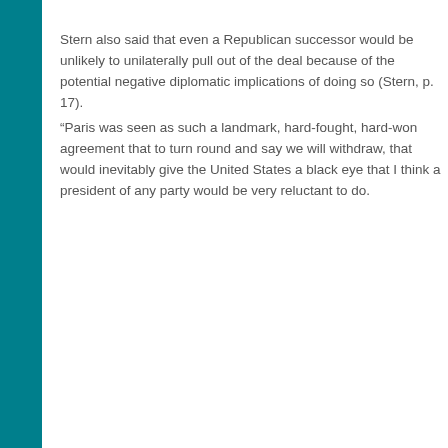Stern also said that even a Republican successor would be unlikely to unilaterally pull out of the deal because of the potential negative diplomatic implications of doing so (Stern, p. 17).
“Paris was seen as such a landmark, hard-fought, hard-won agreement that to turn around and say we will withdraw, that would inevitably give the United States a black eye that I think a president of any party would be very reluctant to do.